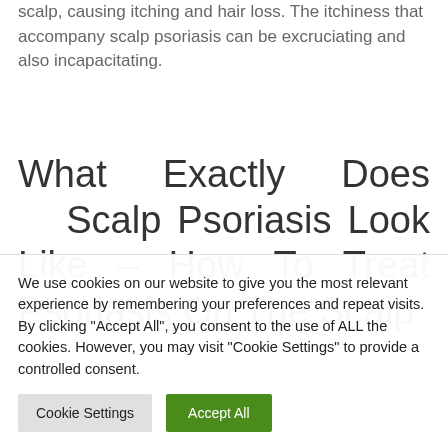scalp, causing itching and hair loss. The itchiness that accompany scalp psoriasis can be excruciating and also incapacitating.
What Exactly Does Scalp Psoriasis Look Like – How To Treat Psoriasis On The Scalp
We use cookies on our website to give you the most relevant experience by remembering your preferences and repeat visits. By clicking "Accept All", you consent to the use of ALL the cookies. However, you may visit "Cookie Settings" to provide a controlled consent.